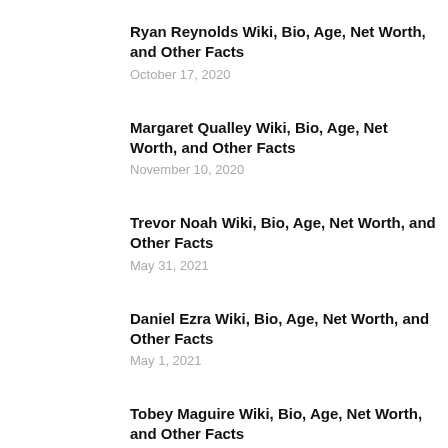Ryan Reynolds Wiki, Bio, Age, Net Worth, and Other Facts
October 17, 2020
Margaret Qualley Wiki, Bio, Age, Net Worth, and Other Facts
November 10, 2020
Trevor Noah Wiki, Bio, Age, Net Worth, and Other Facts
May 31, 2021
Daniel Ezra Wiki, Bio, Age, Net Worth, and Other Facts
May 1, 2021
Tobey Maguire Wiki, Bio, Age, Net Worth, and Other Facts